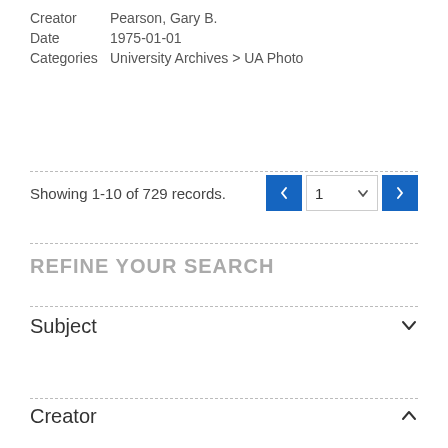Creator    Pearson, Gary B.
Date       1975-01-01
Categories University Archives > UA Photo
Showing 1-10 of 729 records.
REFINE YOUR SEARCH
Subject
Creator